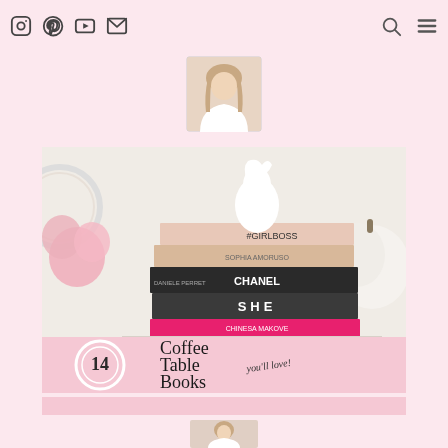Navigation bar with social icons (Instagram, Pinterest, YouTube, Email) and search/menu icons
[Figure (photo): Small circular profile photo of a blonde woman]
[Figure (photo): Photo of stacked coffee table books including #GIRLBOSS, CHANEL, SHE, and a pink book, with a white horse head sculpture on top, pink flowers and white pumpkin in background. Overlaid pink banner reads '14 Coffee Table Books you'll love! InteriorLoveAffair.com']
[Figure (photo): Small profile photo at bottom of page]